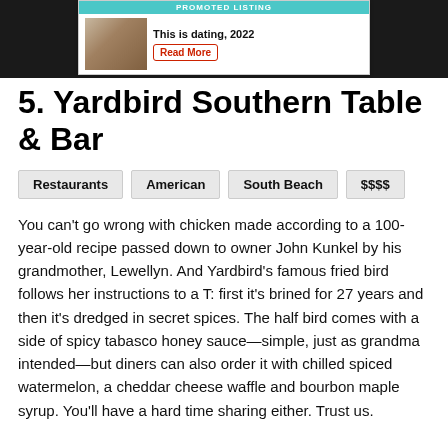[Figure (other): Promoted listing advertisement banner showing couple image with text 'This is dating, 2022' and a 'Read More' button]
5. Yardbird Southern Table & Bar
Restaurants
American
South Beach
$$$$
You can't go wrong with chicken made according to a 100-year-old recipe passed down to owner John Kunkel by his grandmother, Lewellyn. And Yardbird's famous fried bird follows her instructions to a T: first it's brined for 27 years and then it's dredged in secret spices. The half bird comes with a side of spicy tabasco honey sauce—simple, just as grandma intended—but diners can also order it with chilled spiced watermelon, a cheddar cheese waffle and bourbon maple syrup. You'll have a hard time sharing either. Trust us.